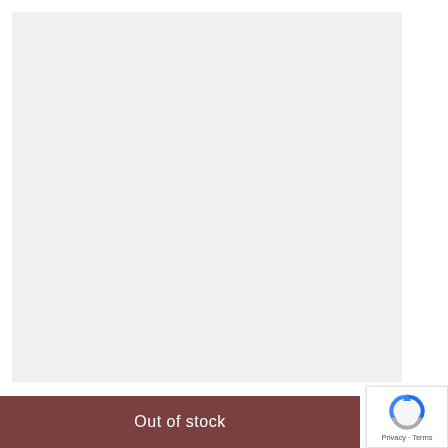[Figure (other): Light gray product image placeholder area]
Out of stock
[Figure (other): Google reCAPTCHA badge with Privacy and Terms links]